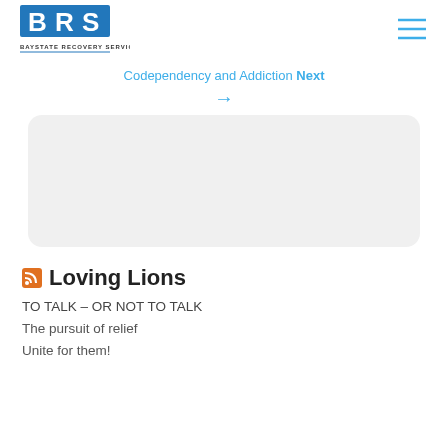[Figure (logo): BRS Baystate Recovery Services logo in blue and black]
[Figure (illustration): Hamburger menu icon (three horizontal lines) in blue]
Codependency and Addiction Next →
[Figure (other): Gray rounded rectangle placeholder box]
Loving Lions
TO TALK – OR NOT TO TALK
The pursuit of relief
Unite for them!